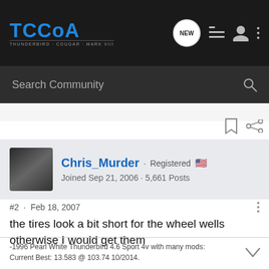TCCoA - THUNDERBIRD · COUGAR · MARK VIII
Search Community
Chris_Murder · Registered
Joined Sep 21, 2006 · 5,661 Posts
#2 · Feb 18, 2007
the tires look a bit short for the wheel wells otherwise I would get them
-1996 Pearl White Thunderbird 4.6 Sport 4v with many mods:
Current Best: 13.583 @ 103.74 10/2014.